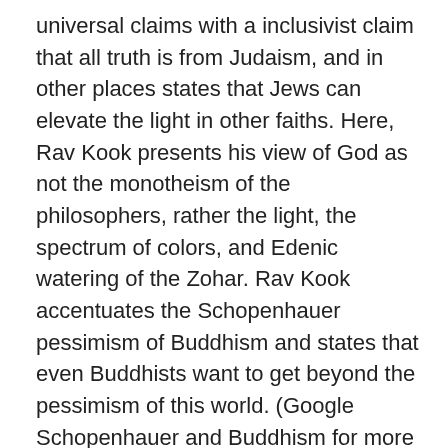universal claims with a inclusivist claim that all truth is from Judaism, and in other places states that Jews can elevate the light in other faiths. Here, Rav Kook presents his view of God as not the monotheism of the philosophers, rather the light, the spectrum of colors, and Edenic watering of the Zohar. Rav Kook accentuates the Schopenhauer pessimism of Buddhism and states that even Buddhists want to get beyond the pessimism of this world. (Google Schopenhauer and Buddhism for more details). I don't have a scan of Alexandrov in my computer but I will cite Rav Kook as in the VBM shuir and another paragraph from latter in the same letter. He writes:
Monotheism is a fabrication of gentiles, an imprecise translation, a sort of self-contradictory comprehensible infinity, and therefore can lead to nothing. This is not the … of the … of the God of Israel, the infinite …